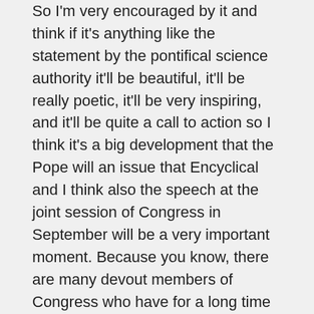So I'm very encouraged by it and think if it's anything like the statement by the pontifical science authority it'll be beautiful, it'll be really poetic, it'll be very inspiring, and it'll be quite a call to action so I think it's a big development that the Pope will an issue that Encyclical and I think also the speech at the joint session of Congress in September will be a very important moment. Because you know, there are many devout members of Congress who have for a long time derided “cafeteria Catholics”, those aren't willing to accept the church's teaching on abortion. So now do they become cafeteria Catholics if they refused to accept the church's teaching on climate change?
CURWOOD: Very interesting question, huh? What's next for you?
INGLIS: The next thing is to build this group of conservatives who believe in the power of free...